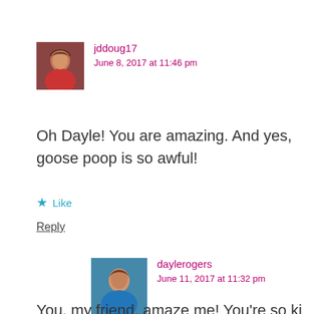[Figure (photo): Small square avatar photo of a woman with reddish hair wearing a red jacket, used as commenter profile image for jddoug17]
jddoug17
June 8, 2017 at 11:46 pm
Oh Dayle! You are amazing. And yes, goose poop is so awful!
Like
Reply
[Figure (photo): Small square avatar photo of a woman with brown hair wearing a blue top, used as commenter profile image for daylerogers]
daylerogers
June 11, 2017 at 11:32 pm
You, my friend, amaze me! You're so kind and